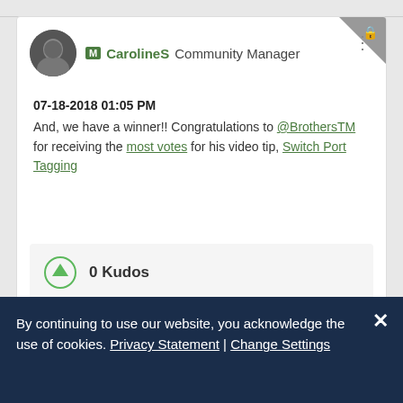[Figure (screenshot): Community forum post by CarolineS, Community Manager, dated 07-18-2018 01:05 PM, announcing a winner. Includes avatar photo, kudos section with 0 Kudos, and a partially visible second card below.]
07-18-2018 01:05 PM
And, we have a winner!! Congratulations to @BrothersTM for receiving the most votes for his video tip, Switch Port Tagging
0 Kudos
By continuing to use our website, you acknowledge the use of cookies. Privacy Statement | Change Settings